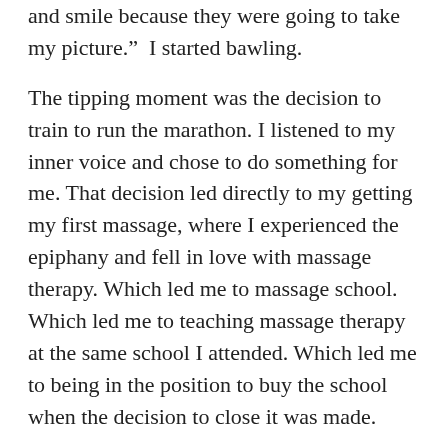and smile because they were going to take my picture.”  I started bawling.
The tipping moment was the decision to train to run the marathon. I listened to my inner voice and chose to do something for me. That decision led directly to my getting my first massage, where I experienced the epiphany and fell in love with massage therapy. Which led me to massage school. Which led me to teaching massage therapy at the same school I attended. Which led me to being in the position to buy the school when the decision to close it was made.
Daily Reminder
I have a shadow box hanging in my office that has a photo of me in the race, my bib number and my finish medal.